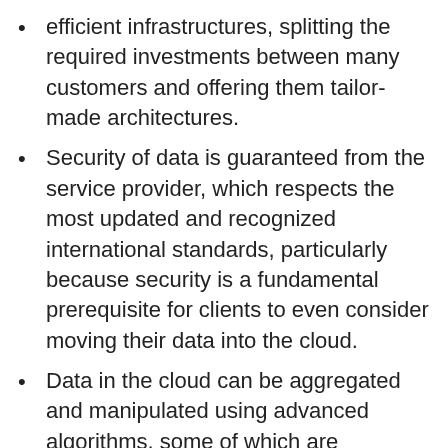efficient infrastructures, splitting the required investments between many customers and offering them tailor-made architectures.
Security of data is guaranteed from the service provider, which respects the most updated and recognized international standards, particularly because security is a fundamental prerequisite for clients to even consider moving their data into the cloud.
Data in the cloud can be aggregated and manipulated using advanced algorithms, some of which are available only in the cloud. Using these algorithms, operations can better predict disruptions or deviations from a system's usual behavior. Operations can also complete